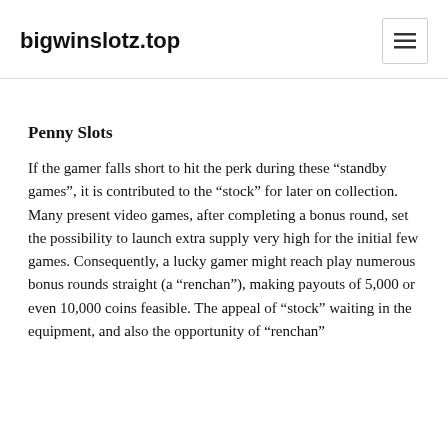bigwinslotz.top
Penny Slots
If the gamer falls short to hit the perk during these “standby games”, it is contributed to the “stock” for later on collection. Many present video games, after completing a bonus round, set the possibility to launch extra supply very high for the initial few games. Consequently, a lucky gamer might reach play numerous bonus rounds straight (a “renchan”), making payouts of 5,000 or even 10,000 coins feasible. The appeal of “stock” waiting in the equipment, and also the opportunity of “renchan”